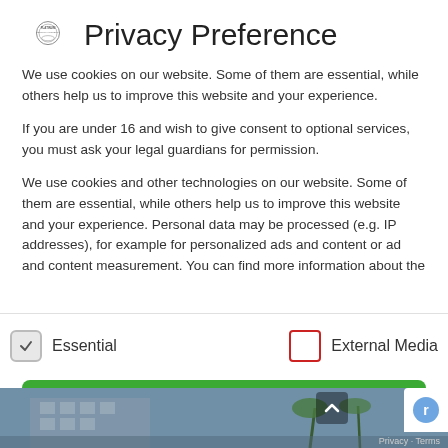Privacy Preference
We use cookies on our website. Some of them are essential, while others help us to improve this website and your experience.
If you are under 16 and wish to give consent to optional services, you must ask your legal guardians for permission.
We use cookies and other technologies on our website. Some of them are essential, while others help us to improve this website and your experience. Personal data may be processed (e.g. IP addresses), for example for personalized ads and content or ad and content measurement. You can find more information about the
Essential
External Media
Accept all
[Figure (photo): Background photo of a building with palm trees, partially visible behind the modal overlay.]